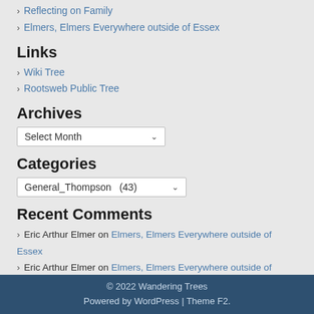› Reflecting on Family
› Elmers, Elmers Everywhere outside of Essex
Links
› Wiki Tree
› Rootsweb Public Tree
Archives
Select Month (dropdown)
Categories
General_Thompson (43) (dropdown)
Recent Comments
› Eric Arthur Elmer on Elmers, Elmers Everywhere outside of Essex
› Eric Arthur Elmer on Elmers, Elmers Everywhere outside of Essex
› Mike Thompson on Elmers, Elmers Everywhere outside of Essex
› Mike Thompson on Elmers, Elmers Everywhere outside of Essex
› Darren elmer on Elmers, Elmers Everywhere outside of Essex
© 2022 Wandering Trees
Powered by WordPress | Theme F2.